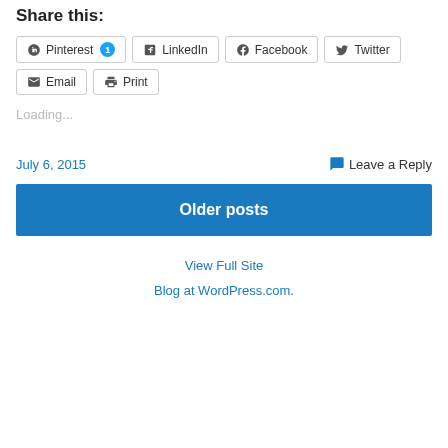Share this:
Pinterest 1  LinkedIn  Facebook  Twitter
Email  Print
Loading...
July 6, 2015    Leave a Reply
Older posts
View Full Site
Blog at WordPress.com.